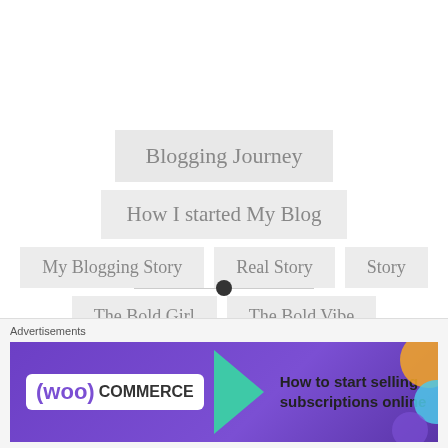Blogging Journey
How I started My Blog
My Blogging Story
Real Story
Story
The Bold Girl
The Bold Vibe
PREVIOUS POST
The Countdown Begins!
Advertisements
[Figure (screenshot): WooCommerce advertisement banner: How to start selling subscriptions online]